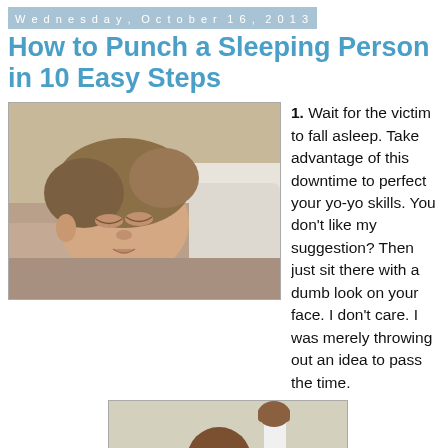Wednesday, October 16, 2013
How to Punch a Sleeping Person in 10 Easy Steps
[Figure (photo): A man sleeping on a pillow with eyes closed, covered by a blanket]
1. Wait for the victim to fall asleep. Take advantage of this downtime to perfect your yo-yo skills. You don't like my suggestion? Then just sit there with a dumb look on your face. I don't care. I was merely throwing out an idea to pass the time.
[Figure (photo): A man raising his fist up in what appears to be a punching motion, wearing a white shirt]